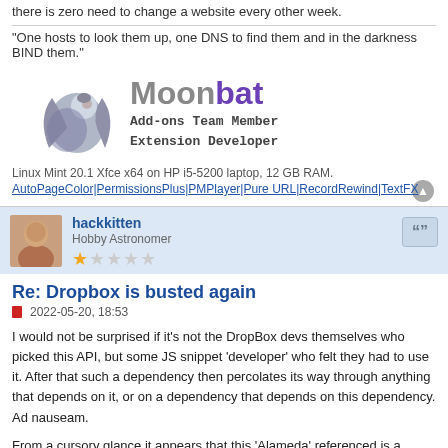there is zero need to change a website every other week.
"One hosts to look them up, one DNS to find them and in the darkness BIND them."
[Figure (logo): Moonbat logo with bat graphic, text: Add-ons Team Member Extension Developer]
Linux Mint 20.1 Xfce x64 on HP i5-5200 laptop, 12 GB RAM.
AutoPageColor|PermissionsPlus|PMPlayer|Pure URL|RecordRewind|TextFX
hackkitten
Hobby Astronomer
Re: Dropbox is busted again
2022-05-20, 18:53
I would not be surprised if it's not the DropBox devs themselves who picked this API, but some JS snippet 'developer' who felt they had to use it. After that such a dependency then percolates its way through anything that depends on it, or on a dependency that depends on this dependency. Ad nauseam.
From a cursory glance it appears that this 'Alameda' referenced is a